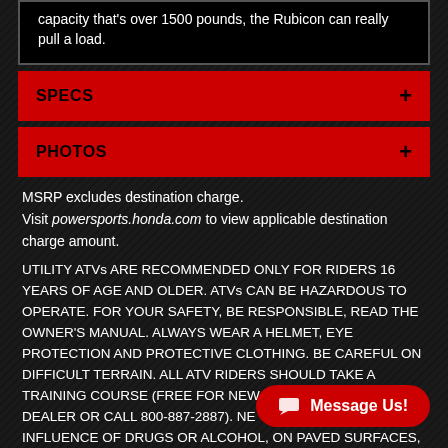capacity that's over 1500 pounds, the Rubicon can really pull a load.
SPECS +
PHOTOS +
MSRP excludes destination charge. Visit powersports.honda.com to view applicable destination charge amount.
UTILITY ATVs ARE RECOMMENDED ONLY FOR RIDERS 16 YEARS OF AGE AND OLDER. ATVs CAN BE HAZARDOUS TO OPERATE. FOR YOUR SAFETY, BE RESPONSIBLE, READ THE OWNER'S MANUAL. ALWAYS WEAR A HELMET, EYE PROTECTION AND PROTECTIVE CLOTHING. BE CAREFUL ON DIFFICULT TERRAIN. ALL ATV RIDERS SHOULD TAKE A TRAINING COURSE (FREE FOR NEW B… DEALER OR CALL 800-887-2887). NE… INFLUENCE OF DRUGS OR ALCOHOL, ON PAVED SURFACES,